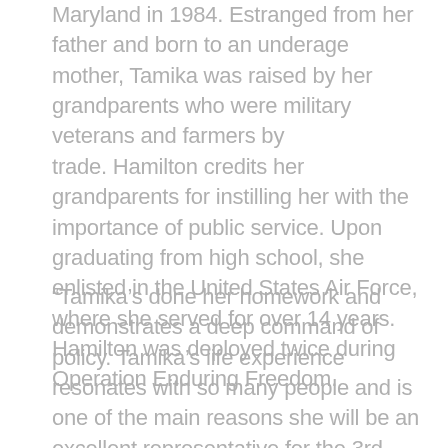Maryland in 1984. Estranged from her father and born to an underage mother, Tamika was raised by her grandparents who were military veterans and farmers by trade. Hamilton credits her grandparents for instilling her with the importance of public service. Upon graduating from high school, she enlisted in the United States Air Force, where she served for over 14 years.  Hamilton was deployed twice during Operation Enduring Freedom.
“Tamika’s done her homework and demonstrates a deep command of policy. Tamika’s life experience resonates with so many people and is one of the main reasons she will be an excellent representative for the 3rd district”, states Maggie’s List California State Chair Teresa Hernandez.